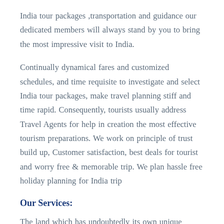India tour packages ,transportation and guidance our dedicated members will always stand by you to bring the most impressive visit to India.
Continually dynamical fares and customized schedules, and time requisite to investigate and select India tour packages, make travel planning stiff and time rapid. Consequently, tourists usually address Travel Agents for help in creation the most effective tourism preparations. We work on principle of trust build up, Customer satisfaction, best deals for tourist and worry free & memorable trip. We plan hassle free holiday planning for India trip
Our Services:
The land which has undoubtedly its own unique culture; the land that showcases the glimmering part